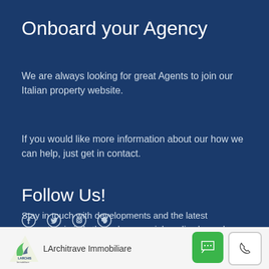Onboard your Agency
We are always looking for great Agents to join our Italian property website.
If you would like more information about our how we can help, just get in contact.
Follow Us!
[Figure (illustration): Social media icons: Facebook, Twitter, Instagram, Pinterest]
Stay in touch with developments and the latest properties in italy through our social media channels
[Figure (logo): LArchitrave Immobiliare logo with bird/architectural icon on the left, company name text, chat button (green) and phone button (white) on the right in the footer bar]